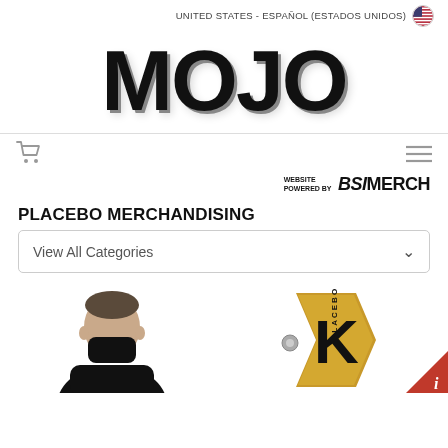UNITED STATES - ESPAÑOL (ESTADOS UNIDOS) 🇺🇸
[Figure (logo): MOJO large bold logo text in black with subtle drop shadow]
[Figure (logo): WEBSITE POWERED BY BSI MERCH badge logo in top right of nav area]
PLACEBO MERCHANDISING
View All Categories
[Figure (photo): Person wearing a black face mask, black shirt, short hair, facing right slightly]
[Figure (photo): Placebo PLACEBO K enamel pin badge on gold/yellow K letter shape with small circular pin]